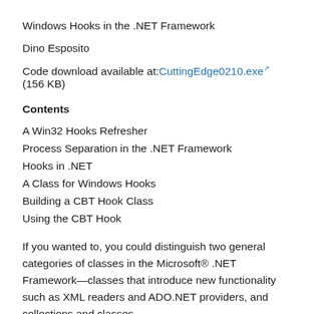Windows Hooks in the .NET Framework
Dino Esposito
Code download available at: CuttingEdge0210.exe (156 KB)
Contents
A Win32 Hooks Refresher
Process Separation in the .NET Framework
Hooks in .NET
A Class for Windows Hooks
Building a CBT Hook Class
Using the CBT Hook
If you wanted to, you could distinguish two general categories of classes in the Microsoft® .NET Framework—classes that introduce new functionality such as XML readers and ADO.NET providers, and collections and classes